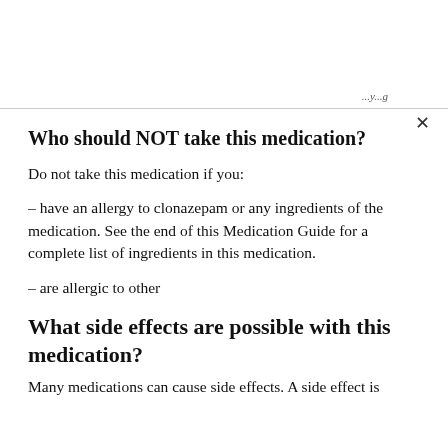Who should NOT take this medication?
Do not take this medication if you:
– have an allergy to clonazepam or any ingredients of the medication. See the end of this Medication Guide for a complete list of ingredients in this medication.
– are allergic to other
What side effects are possible with this medication?
Many medications can cause side effects. A side effect is